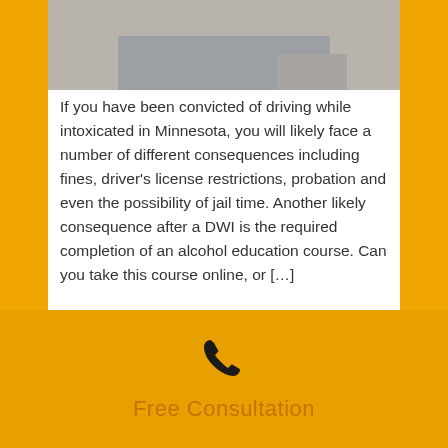[Figure (photo): Photo of hands near a laptop computer on a desk, viewed from above]
If you have been convicted of driving while intoxicated in Minnesota, you will likely face a number of different consequences including fines, driver's license restrictions, probation and even the possibility of jail time. Another likely consequence after a DWI is the required completion of an alcohol education course. Can you take this course online, or […]
Free Consultation